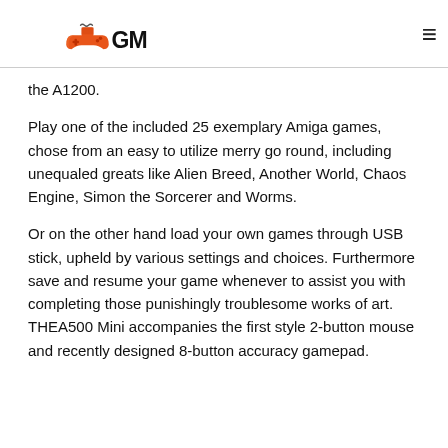GM (logo with gamepad icon)
the A1200.
Play one of the included 25 exemplary Amiga games, chose from an easy to utilize merry go round, including unequaled greats like Alien Breed, Another World, Chaos Engine, Simon the Sorcerer and Worms.
Or on the other hand load your own games through USB stick, upheld by various settings and choices. Furthermore save and resume your game whenever to assist you with completing those punishingly troublesome works of art. THEA500 Mini accompanies the first style 2-button mouse and recently designed 8-button accuracy gamepad.